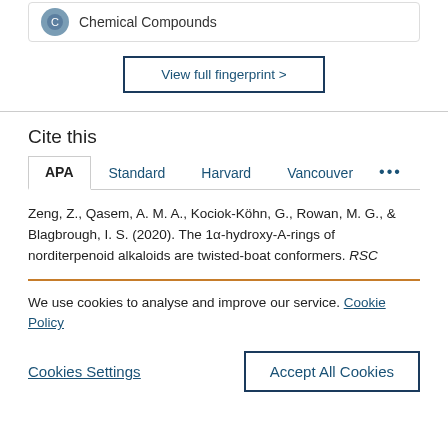Chemical Compounds
View full fingerprint >
Cite this
APA  Standard  Harvard  Vancouver  ...
Zeng, Z., Qasem, A. M. A., Kociok-Köhn, G., Rowan, M. G., & Blagbrough, I. S. (2020). The 1α-hydroxy-A-rings of norditerpenoid alkaloids are twisted-boat conformers. RSC
We use cookies to analyse and improve our service. Cookie Policy
Cookies Settings
Accept All Cookies